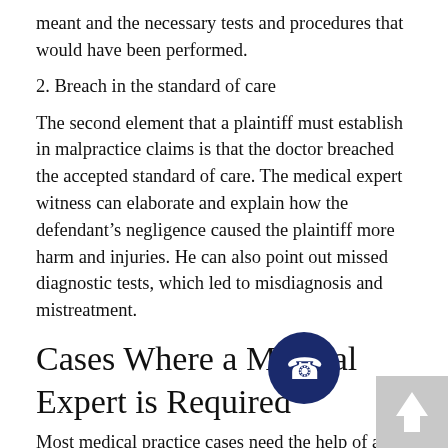meant and the necessary tests and procedures that would have been performed.
2. Breach in the standard of care
The second element that a plaintiff must establish in malpractice claims is that the doctor breached the accepted standard of care. The medical expert witness can elaborate and explain how the defendant's negligence caused the plaintiff more harm and injuries. He can also point out missed diagnostic tests, which led to misdiagnosis and mistreatment.
Cases Where a Medical Expert is Required
[Figure (illustration): Dark navy blue circle with a white phone/call icon in the center]
[Figure (illustration): Gray square scroll-to-top button with white upward arrow]
Most medical practice cases need the help of an